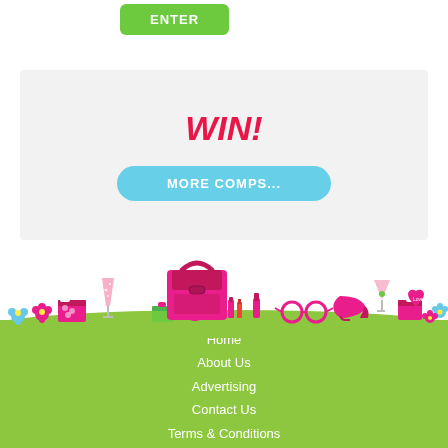[Figure (other): Green ENTER button at top of page]
WIN!
MORE COMPS...
[Figure (illustration): Decorative illustration of fashion and lifestyle items including handbag, glasses, flowers, gifts, champagne flute, perfume, clock, lipstick, high heel shoe, and heart on a green grass background]
Home
About Us
Advertising
Contact Us
Terms & Conditions
Privacy Policy